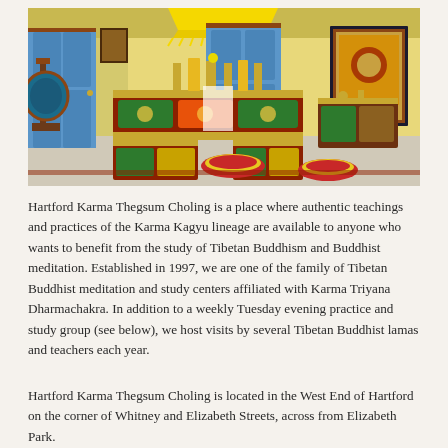[Figure (photo): Interior of a Tibetan Buddhist meditation room with colorful painted wooden altar cabinets, thangka paintings on yellow walls, meditation cushions on the floor, blue doors, and a yellow ceremonial umbrella hanging from the ceiling.]
Hartford Karma Thegsum Choling is a place where authentic teachings and practices of the Karma Kagyu lineage are available to anyone who wants to benefit from the study of Tibetan Buddhism and Buddhist meditation. Established in 1997, we are one of the family of Tibetan Buddhist meditation and study centers affiliated with Karma Triyana Dharmachakra. In addition to a weekly Tuesday evening practice and study group (see below), we host visits by several Tibetan Buddhist lamas and teachers each year.
Hartford Karma Thegsum Choling is located in the West End of Hartford on the corner of Whitney and Elizabeth Streets, across from Elizabeth Park.